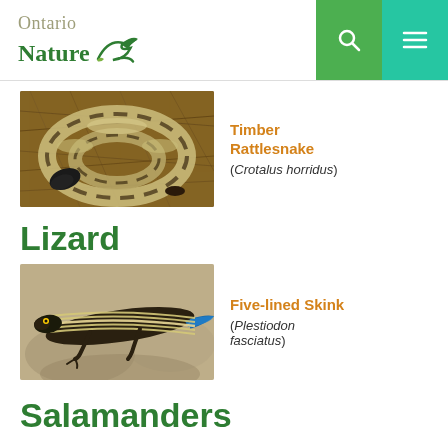Ontario Nature [logo] [search] [menu]
[Figure (photo): Timber Rattlesnake coiled on brown pine needle ground]
Timber Rattlesnake (Crotalus horridus)
Lizard
[Figure (photo): Five-lined Skink lizard on sandy/rocky surface, showing five yellow/cream stripes on dark body]
Five-lined Skink (Plestiodon fasciatus)
Salamanders